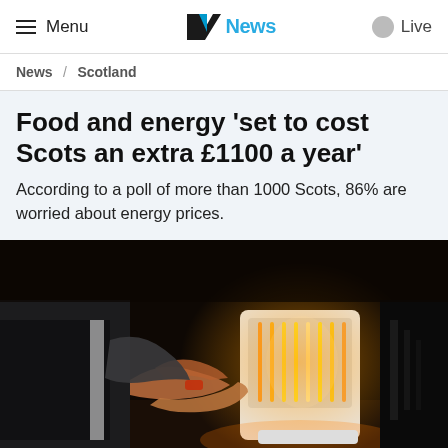Menu | STV News | Live
News / Scotland
Food and energy 'set to cost Scots an extra £1100 a year'
According to a poll of more than 1000 Scots, 86% are worried about energy prices.
[Figure (photo): An elderly person warming their hands over a portable electric halogen heater in a dimly lit room.]